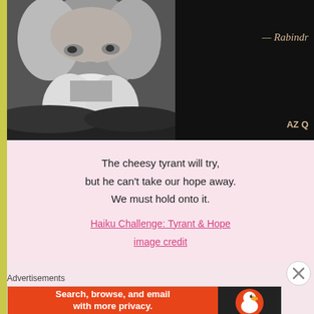[Figure (photo): Black and white close-up portrait of an elderly bearded man (Rabindranath Tagore) with long white beard and hair, on the left half. Right half is dark/black background with italic script text '— Rabindr...' and 'AZ Q' in gold/amber color.]
The cheesy tyrant will try,
but he can't take our hope away.
We must hold onto it.
Haiku Challenge: Tyrant & Hope
image credit
Advertisements
[Figure (screenshot): DuckDuckGo advertisement banner: orange section with white text 'Search, browse, and email with more privacy. All in One Free App' and dark section with DuckDuckGo duck logo and 'DuckDuckGo' label.]